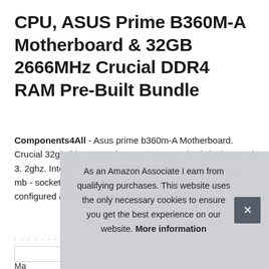CPU, ASUS Prime B360M-A Motherboard & 32GB 2666MHz Crucial DDR4 RAM Pre-Built Bundle
Components4All - Asus prime b360m-A Motherboard. Crucial 32gb ddr4 2666mhz ram. Cpu standard clock Speed 3. 2ghz. Intel core i7 8700 3. 2ghz 4. 6ghz turbo cpu - 12 mb - socket 1151 - 6 Cores/12 Threads. Pre-assembled, configured and Fully Tested Component Bundle.
As an Amazon Associate I earn from qualifying purchases. This website uses the only necessary cookies to ensure you get the best experience on our website. More information